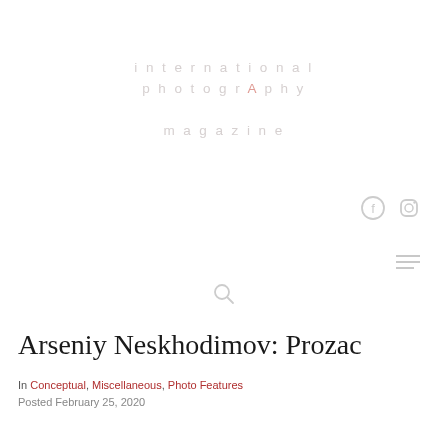[Figure (logo): International Photography Magazine logo with stylized text and red A]
[Figure (other): Social media icons: Facebook and Instagram, light gray]
[Figure (other): Hamburger menu icon (three horizontal lines), light gray]
[Figure (other): Search/magnifying glass icon, light gray]
Arseniy Neskhodimov: Prozac
In Conceptual, Miscellaneous, Photo Features
Posted February 25, 2020